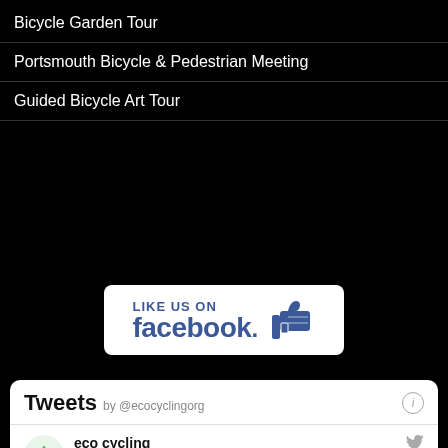Bicycle Garden Tour
Portsmouth Bicycle & Pedestrian Meeting
Guided Bicycle Art Tour
[Figure (screenshot): Like Us On Facebook button with thumbs up icon, white rounded rectangle on black background]
[Figure (screenshot): Twitter/Tweets widget showing tweets by @ecocyclingorg. Tweet from eco cycling (@ecocyclingorg): bugbite7: Step over ants, put worms back in the rescue baby caterpillars, release spiders back in garden, open windows for bees to fly home, they are all little souls that deserve a life too.]